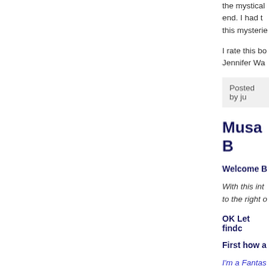the mystical end. I had to this mysterie
I rate this bo Jennifer Wa
Posted by ju
Musa B
Welcome B
With this int to the right o
OK Let findc
First how a
I'm a Fantas since I can r was a librar